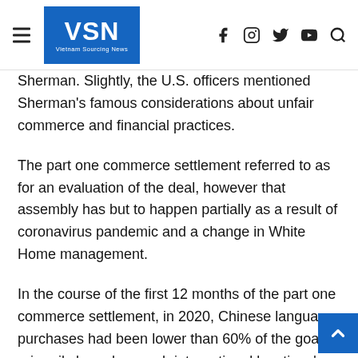VSN Vietnam Sourcing News
Sherman. Slightly, the U.S. officers mentioned Sherman's famous considerations about unfair commerce and financial practices.
The part one commerce settlement referred to as for an evaluation of the deal, however that assembly has but to happen partially as a result of coronavirus pandemic and a change in White Home management.
In the course of the first 12 months of the part one commerce settlement, in 2020, Chinese language purchases had been lower than 60% of the goal, primarily based on each international locations' information, the Peterson Institute mentioned.
China's commerce surplus with the U.S., which Trump tried to cut back, remained close to historic highs at $32.58 bil in June, customs information confirmed.